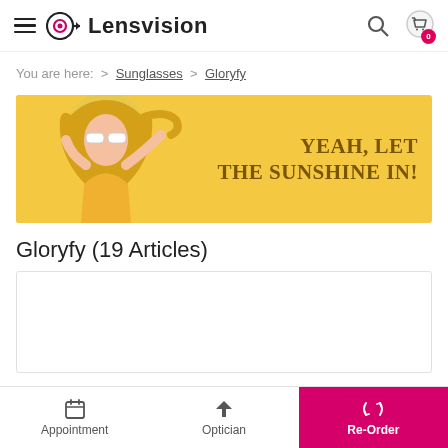Lensvision
You are here: > Sunglasses > Gloryfy
[Figure (photo): Yellow background banner with a blonde woman wearing white sunglasses and text: YEAH, LET THE SUNSHINE IN!]
Gloryfy (19 Articles)
[Figure (other): White product grid area (empty/loading)]
Appointment | Optician | Re-Order